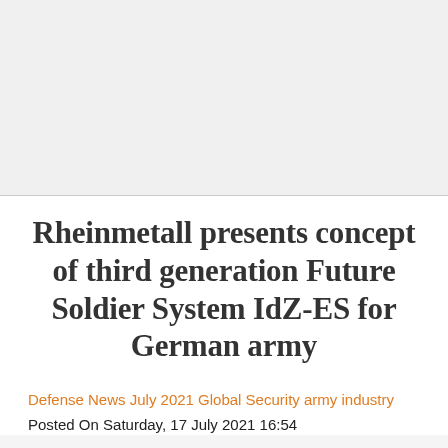[Figure (photo): Large image area at the top of the page, appears to be a placeholder or image not visible in rendering]
Rheinmetall presents concept of third generation Future Soldier System IdZ-ES for German army
Defense News July 2021 Global Security army industry
Posted On Saturday, 17 July 2021 16:54